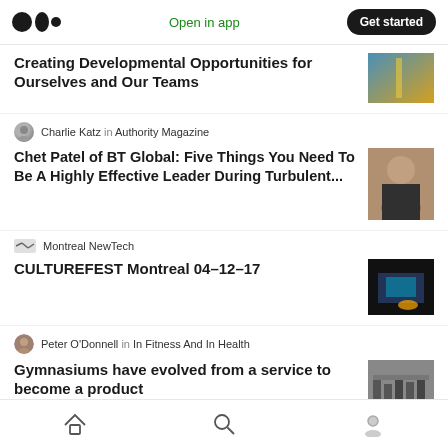Medium app header — Open in app | Get started
Creating Developmental Opportunities for Ourselves and Our Teams
Charlie Katz in Authority Magazine
Chet Patel of BT Global: Five Things You Need To Be A Highly Effective Leader During Turbulent...
Montreal NewTech
CULTUREFEST Montreal 04–12–17
Peter O'Donnell in In Fitness And In Health
Gymnasiums have evolved from a service to become a product
Home | Search | Profile